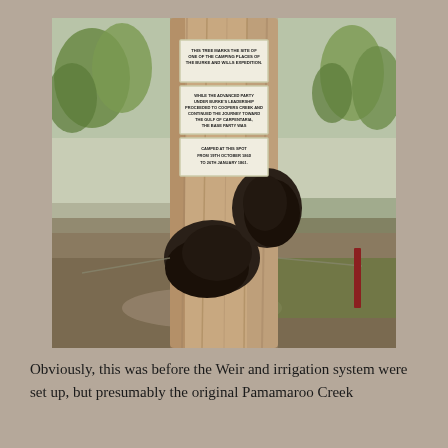[Figure (photo): Photograph of a large old eucalyptus tree with a historic sign affixed to its trunk. The sign marks one of the camping places of the Burke and Wills Expedition. The tree has large dark burls/growths near its base. A rope or wire barrier surrounds the tree. Trees and scrubland visible in background.]
Obviously, this was before the Weir and irrigation system were set up, but presumably the original Pamamaroo Creek